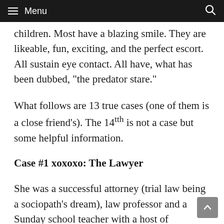Menu
children. Most have a blazing smile. They are likeable, fun, exciting, and the perfect escort. All sustain eye contact. All have, what has been dubbed, “the predator stare.”
What follows are 13 true cases (one of them is a close friend’s). The 14th is not a case but some helpful information.
Case #1 xoxoxo: The Lawyer
She was a successful attorney (trial law being a sociopath’s dream), law professor and a Sunday school teacher with a host of